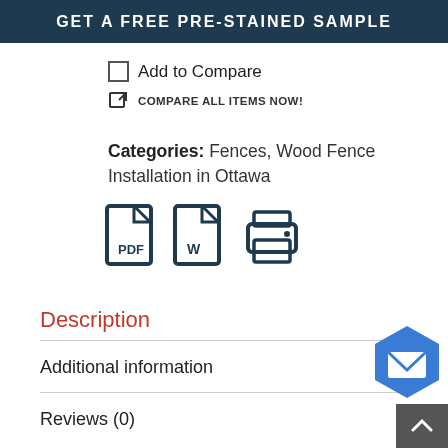GET A FREE PRE-STAINED SAMPLE
Add to Compare
COMPARE ALL ITEMS NOW!
Categories: Fences, Wood Fence Installation in Ottawa
[Figure (illustration): Three icons: PDF document, Word document, and printer]
Description
Additional information
Reviews (0)
[Figure (illustration): Blue hexagon envelope/mail button and dark scroll-to-top button in bottom right corner]